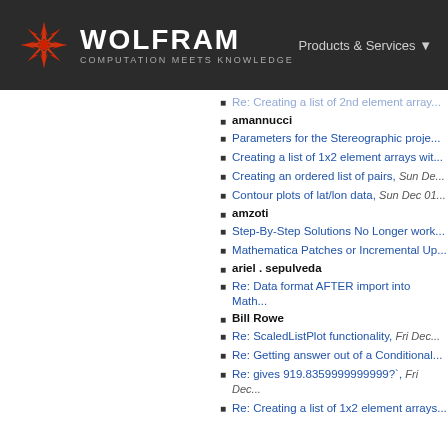WOLFRAM — COMPUTATION MEETS KNOWLEDGE | Products & Services
Re: Creating a list of 2nd element array... (truncated, link)
amannucci
Parameters for the Stereographic proje... (link)
Creating a list of 1x2 element arrays wit... (link)
Creating an ordered list of pairs, Sun De... (link+date)
Contour plots of lat/lon data, Sun Dec 01... (link+date)
amzoti
Step-By-Step Solutions No Longer work... (link)
Mathematica Patches or Incremental Up... (link)
ariel . sepulveda
Re: Data format AFTER import into Math... (link)
Bill Rowe
Re: ScaledListPlot functionality, Fri Dec... (link+date)
Re: Getting answer out of a Conditional... (link)
Re: gives 919.8359999999999?`, Fri Dec... (link+date)
Re: Creating a list of 1x2 element arrays... (link)